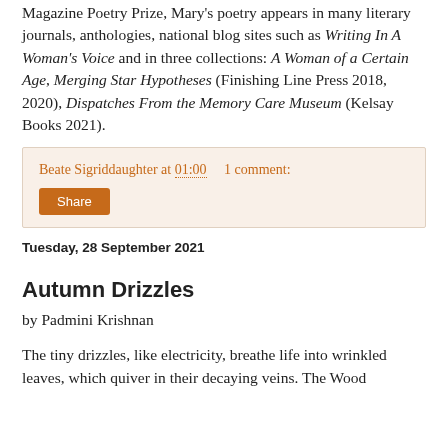Magazine Poetry Prize, Mary's poetry appears in many literary journals, anthologies, national blog sites such as Writing In A Woman's Voice and in three collections: A Woman of a Certain Age, Merging Star Hypotheses (Finishing Line Press 2018, 2020), Dispatches From the Memory Care Museum (Kelsay Books 2021).
Beate Sigriddaughter at 01:00   1 comment:
Share
Tuesday, 28 September 2021
Autumn Drizzles
by Padmini Krishnan
The tiny drizzles, like electricity, breathe life into wrinkled leaves, which quiver in their decaying veins. The Wood